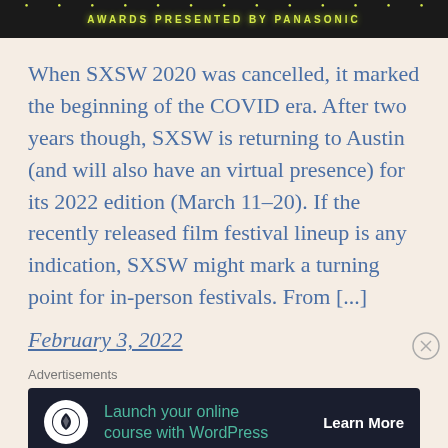[Figure (photo): Top portion of a theater marquee showing lights and text 'AWARDS PRESENTED BY PANASONIC' in yellow/green bulb letters on dark background]
When SXSW 2020 was cancelled, it marked the beginning of the COVID era. After two years though, SXSW is returning to Austin (and will also have an virtual presence) for its 2022 edition (March 11–20). If the recently released film festival lineup is any indication, SXSW might mark a turning point for in-person festivals. From [...]
February 3, 2022
Advertisements
[Figure (screenshot): Advertisement banner: dark navy background with WordPress tree logo icon on white circle, green text 'Launch your online course with WordPress', white 'Learn More' button text]